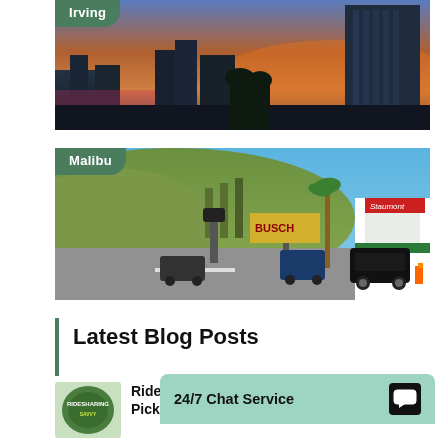[Figure (photo): City skyline at dusk/sunset, tall glass skyscraper on right, with label badge 'Irving' in green]
[Figure (photo): Street scene in Malibu with hillside, palm trees, Busch sign, SUVs, with label badge 'Malibu' in green]
Latest Blog Posts
[Figure (photo): Thumbnail image showing ridesharing logo badge with green and white colors]
Ride S… Picku…
24/7 Chat Service